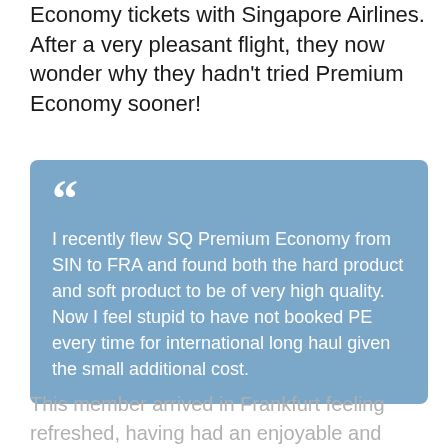Economy tickets with Singapore Airlines. After a very pleasant flight, they now wonder why they hadn't tried Premium Economy sooner!
I recently flew SQ Premium Economy from SIN to FRA and found both the hard product and soft product to be of very high quality. Now I feel stupid to have not booked PE every time for international long haul given the small additional cost.
This member arrived in Frankfurt feeling refreshed, having had an enjoyable and